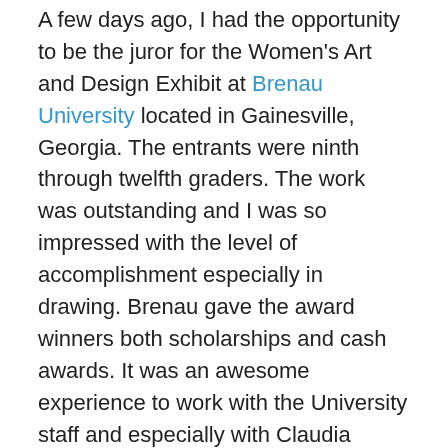A few days ago, I had the opportunity to be the juror for the Women's Art and Design Exhibit at Brenau University located in Gainesville, Georgia. The entrants were ninth through twelfth graders. The work was outstanding and I was so impressed with the level of accomplishment especially in drawing. Brenau gave the award winners both scholarships and cash awards. It was an awesome experience to work with the University staff and especially with Claudia Wilburn, a member of the Art and Design Department faculty, who first contacted me and whose work can still be seen in a faculty exhibit until March 19th at the Presidents Gallery. Her large woodcut prints are powerful.

For Valentine's Day, dk Gallery launched another “Figure and Nude” exhibit. I contributed drawings,  monotypes and paintings for this exhibit. The gallery attracts a very wide